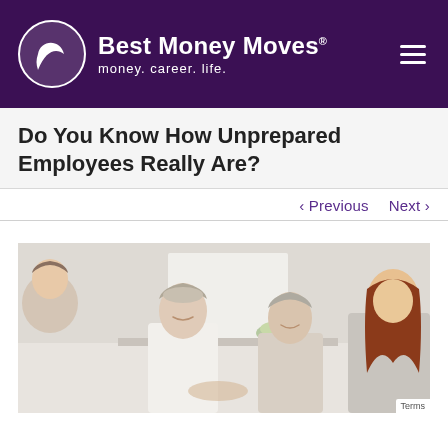Best Money Moves® money. career. life.
Do You Know How Unprepared Employees Really Are?
< Previous   Next >
[Figure (photo): Group of people sitting together in a bright room — an elderly man in a white shirt, another older person in a beige turtleneck, a young woman with long auburn hair, and a woman partially visible on the left.]